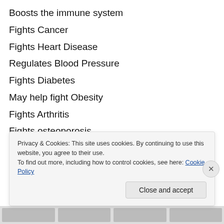Boosts the immune system
Fights Cancer
Fights Heart Disease
Regulates Blood Pressure
Fights Diabetes
May help fight Obesity
Fights Arthritis
Fights osteoporosis
Avocado
Lowers Cholesterol
Privacy & Cookies: This site uses cookies. By continuing to use this website, you agree to their use.
To find out more, including how to control cookies, see here: Cookie Policy